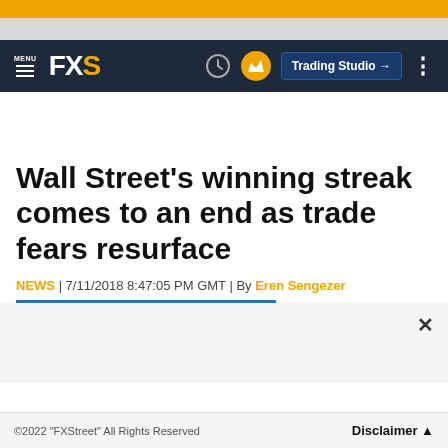FXS — MENU | Trading Studio
Wall Street's winning streak comes to an end as trade fears resurface
NEWS | 7/11/2018 8:47:05 PM GMT | By Eren Sengezer
©2022 "FXStreet" All Rights Reserved    Disclaimer